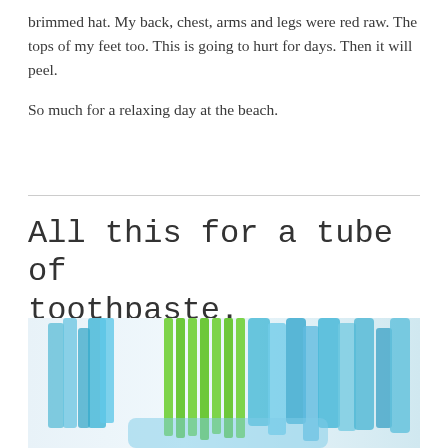brimmed hat. My back, chest, arms and legs were red raw. The tops of my feet too. This is going to hurt for days. Then it will peel.

So much for a relaxing day at the beach.
All this for a tube of toothpaste.
[Figure (photo): Close-up photo of a toothbrush head showing blue and green bristles against a light background]